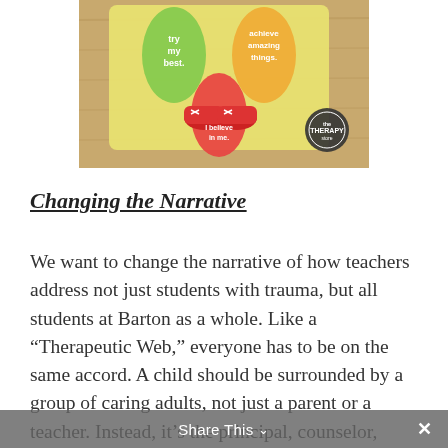[Figure (photo): Top-down view of a person wearing red sneakers standing on a mat with footprint graphics and motivational text including 'try my best', 'achieve amazing things', and 'I believe in me'. A circular Therapy logo is visible in the lower right corner of the mat.]
Changing the Narrative
We want to change the narrative of how teachers address not just students with trauma, but all students at Barton as a whole. Like a “Therapeutic Web,” everyone has to be on the same accord. A child should be surrounded by a group of caring adults, not just a parent or a teacher. Instead, it’s the principal, counselor, recreational aides,
Share This ⌃  ×